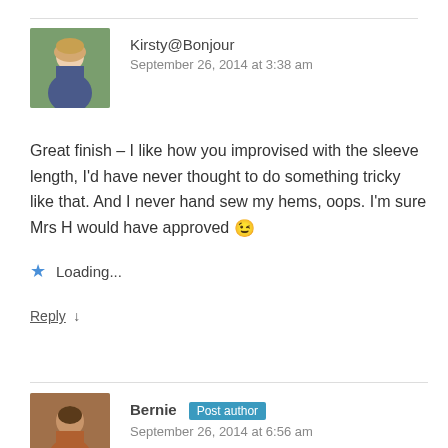Kirsty@Bonjour
September 26, 2014 at 3:38 am
Great finish – I like how you improvised with the sleeve length, I'd have never thought to do something tricky like that. And I never hand sew my hems, oops. I'm sure Mrs H would have approved 😉
Loading...
Reply ↓
Bernie Post author
September 26, 2014 at 6:56 am